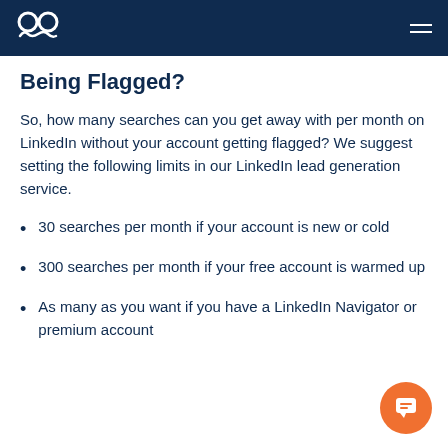Mustache logo and navigation
Being Flagged?
So, how many searches can you get away with per month on LinkedIn without your account getting flagged? We suggest setting the following limits in our LinkedIn lead generation service.
30 searches per month if your account is new or cold
300 searches per month if your free account is warmed up
As many as you want if you have a LinkedIn Navigator or premium account